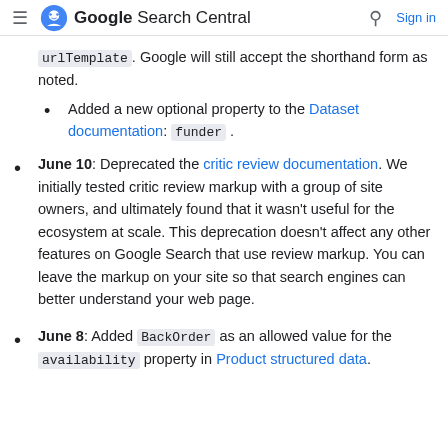Google Search Central  Sign in
urlTemplate. Google will still accept the shorthand form as noted.
Added a new optional property to the Dataset documentation: funder .
June 10: Deprecated the critic review documentation. We initially tested critic review markup with a group of site owners, and ultimately found that it wasn't useful for the ecosystem at scale. This deprecation doesn't affect any other features on Google Search that use review markup. You can leave the markup on your site so that search engines can better understand your web page.
June 8: Added BackOrder as an allowed value for the availability property in Product structured data.